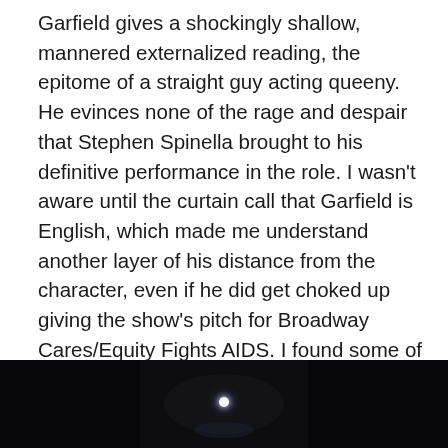Garfield gives a shockingly shallow, mannered externalized reading, the epitome of a straight guy acting queeny. He evinces none of the rage and despair that Stephen Spinella brought to his definitive performance in the role. I wasn't aware until the curtain call that Garfield is English, which made me understand another layer of his distance from the character, even if he did get choked up giving the show's pitch for Broadway Cares/Equity Fights AIDS. I found some of the other British actors equally unsatisfying — Susan Brown's drab turns as Hannah Pitt, the Mormon mother, and Ethel Rosenberg, for one, and Denise Gough, who was so fiery and intense in People, Places & Things at St. Ann's Warehouse last fall but here barely conveyed the damaged soul of Harper.
[Figure (photo): Dark stage photograph showing a dimly lit scene with a bright light source visible in the center against a very dark background.]